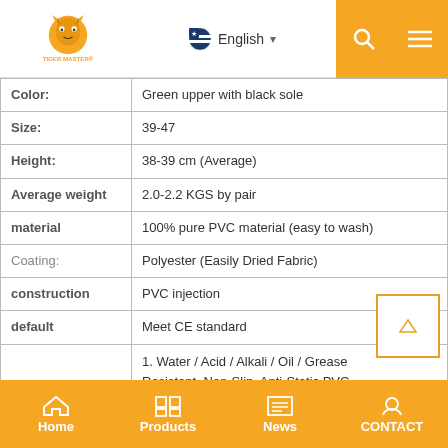Tiger Master | English
| Property | Value |
| --- | --- |
| Color: | Green upper with black sole |
| Size: | 39-47 |
| Height: | 38-39 cm (Average) |
| Average weight | 2.0-2.2 KGS by pair |
| material | 100% pure PVC material (easy to wash) |
| Coating: | Polyester (Easily Dried Fabric) |
| construction | PVC injection |
| default | Meet CE standard |
|  | 1. Water / Acid / Alkali / Oil / Grease Resistant, Non-Slip, Anti-Static PVC Boots.
2. Outsole is abrasion resistant and contract. |
Home | Products | News | CONTACT